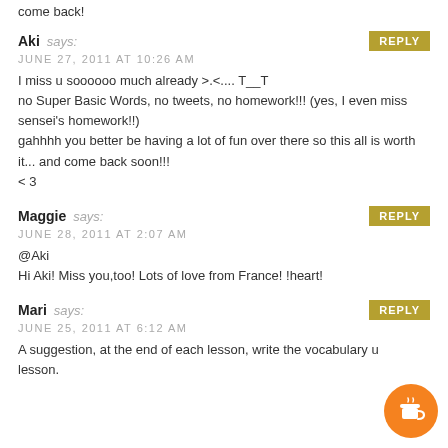come back!
Aki says:
JUNE 27, 2011 AT 10:26 AM
I miss u soooooo much already >.<.... T__T
no Super Basic Words, no tweets, no homework!!! (yes, I even miss sensei's homework!!)
gahhhh you better be having a lot of fun over there so this all is worth it... and come back soon!!!
<3
Maggie says:
JUNE 28, 2011 AT 2:07 AM
@Aki
Hi Aki! Miss you,too! Lots of love from France! !heart!
Mari says:
JUNE 25, 2011 AT 6:12 AM
A suggestion, at the end of each lesson, write the vocabulary u... lesson.